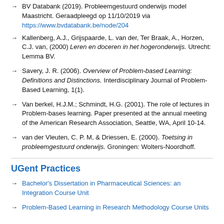BV Databank (2019). Probleemgestuurd onderwijs model Maastricht. Geraadpleegd op 11/10/2019 via https://www.bvdatabank.be/node/204
Kallenberg, A.J., Grijspaarde, L. van der, Ter Braak, A., Horzen, C.J. van, (2000) Leren en doceren in het hogeronderwijs. Utrecht: Lemma BV.
Savery, J. R. (2006). Overview of Problem-based Learning: Definitions and Distinctions. Interdisciplinary Journal of Problem-Based Learning, 1(1).
Van berkel, H.J.M.; Schmindt, H.G. (2001). The role of lectures in Problem-bases learning. Paper presented at the annual meeting of the American Research Association, Seattle, WA, April 10-14.
van der Vleuten, C. P. M, & Driessen, E. (2000). Toetsing in probleemgestuurd onderwijs. Groningen: Wolters-Noordhoff.
UGent Practices
Bachelor's Dissertation in Pharmaceutical Sciences: an Integration Course Unit
Problem-Based Learning in Research Methodology Course Units